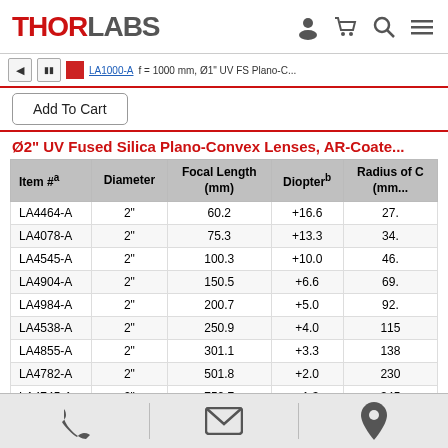THORLABS [navigation icons]
Add To Cart
Ø2" UV Fused Silica Plano-Convex Lenses, AR-Coate...
| Item #a | Diameter | Focal Length (mm) | Diopterb | Radius of C (mm) |
| --- | --- | --- | --- | --- |
| LA4464-A | 2" | 60.2 | +16.6 | 27. |
| LA4078-A | 2" | 75.3 | +13.3 | 34. |
| LA4545-A | 2" | 100.3 | +10.0 | 46. |
| LA4904-A | 2" | 150.5 | +6.6 | 69. |
| LA4984-A | 2" | 200.7 | +5.0 | 92. |
| LA4538-A | 2" | 250.9 | +4.0 | 115 |
| LA4855-A | 2" | 301.1 | +3.3 | 138 |
| LA4782-A | 2" | 501.8 | +2.0 | 230 |
| LA4745-A | 2" | 752.7 | +1.3 | 345 |
| LA4337-A | 2" | 1003.5 | +1.0 | 460 |
[phone icon] [email icon] [location icon]